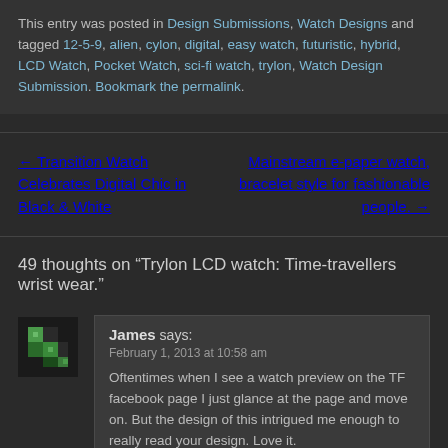This entry was posted in Design Submissions, Watch Designs and tagged 12-5-9, alien, cylon, digital, easy watch, futuristic, hybrid, LCD Watch, Pocket Watch, sci-fi watch, trylon, Watch Design Submission. Bookmark the permalink.
← Transition Watch Celebrates Digital Chic in Black & White
Mainstream e-paper watch, bracelet style for fashionable people. →
49 thoughts on "Trylon LCD watch: Time-travellers wrist wear."
James says: February 1, 2013 at 10:58 am
Oftentimes when I see a watch preview on the TF facebook page I just glance at the page and move on. But the design of this intrigued me enough to really read your design. Love it.